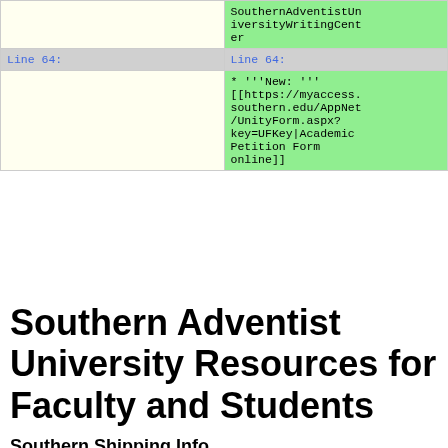| (left) | (right) |
| --- | --- |
|  | SouthernAdventistUniversityWritingCenter |
| Line 64: | Line 64: |
|  | * '''New: ''' [[https://myaccess.southern.edu/AppNet/UnityForm.aspx?key=UFKey|Academic Petition Form online]] |
Southern Adventist University Resources for Faculty and Students
Southern Shipping Info
There has been a change of Shipping Address (9/2018).